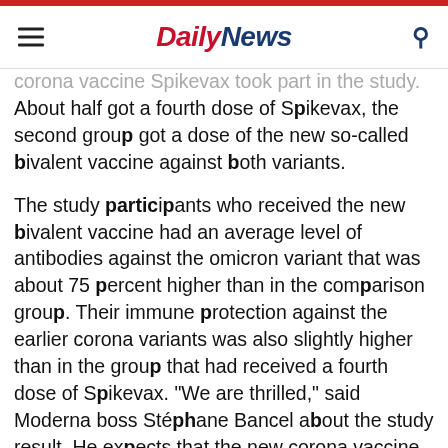Daily News
corona vaccine Spikevax took part in the study. About half got a fourth dose of Spikevax, the second group got a dose of the new so-called bivalent vaccine against both variants.
The study participants who received the new bivalent vaccine had an average level of antibodies against the omicron variant that was about 75 percent higher than in the comparison group. Their immune protection against the earlier corona variants was also slightly higher than in the group that had received a fourth dose of Spikevax. "We are thrilled," said Moderna boss Stéphane Bancel about the study result. He expects that the new corona vaccine will be his company's favorite for an application for approval for a corona booster